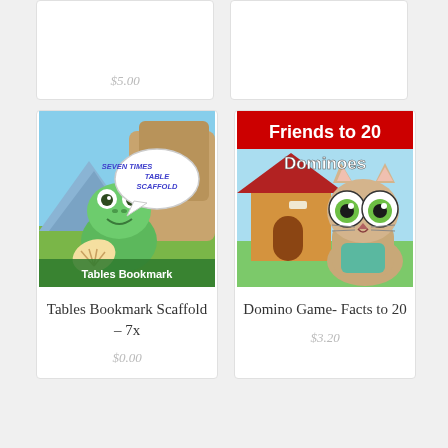[Figure (illustration): Partial view of top-left product card with price $5.00]
[Figure (illustration): Partial view of top-right product card with price visible]
[Figure (illustration): Tables Bookmark product image - frog holding fan with speech bubble saying SEVEN TIMES TABLE SCAFFOLD, text Tables Bookmark at bottom]
Tables Bookmark Scaffold – 7x
$0.00
[Figure (illustration): Domino Game product image - cat with big eyes near dog house, text Friends to 20 Dominoes at top]
Domino Game- Facts to 20
$3.20